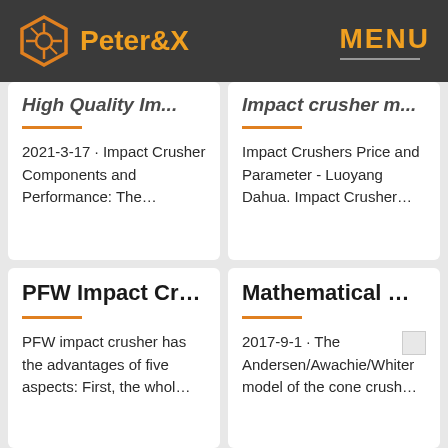Peter&X  MENU
High Quality Im... (cropped title, left card row 1)
Impact crusher m... (cropped title, right card row 1)
2021-3-17 · Impact Crusher Components and Performance: The…
Impact Crushers Price and Parameter - Luoyang Dahua. Impact Crusher…
PFW Impact Cr…
Mathematical …
PFW impact crusher has the advantages of five aspects: First, the whol…
2017-9-1 · The Andersen/Awachie/Whiter model of the cone crush…